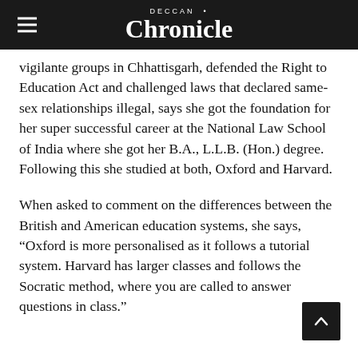Deccan Chronicle
vigilante groups in Chhattisgarh, defended the Right to Education Act and challenged laws that declared same-sex relationships illegal, says she got the foundation for her super successful career at the National Law School of India where she got her B.A., L.L.B. (Hon.) degree. Following this she studied at both, Oxford and Harvard.
When asked to comment on the differences between the British and American education systems, she says, “Oxford is more personalised as it follows a tutorial system. Harvard has larger classes and follows the Socratic method, where you are called to answer questions in class.”